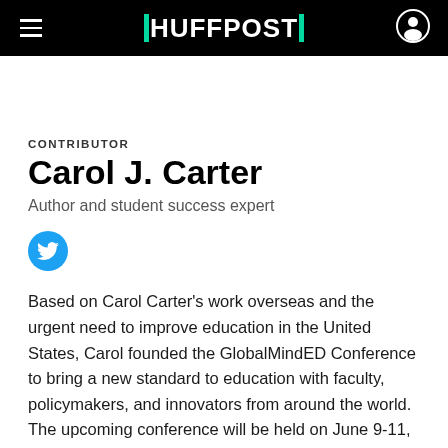HUFFPOST
CONTRIBUTOR
Carol J. Carter
Author and student success expert
[Figure (logo): Twitter bird icon in a blue circle button]
Based on Carol Carter's work overseas and the urgent need to improve education in the United States, Carol founded the GlobalMindED Conference to bring a new standard to education with faculty, policymakers, and innovators from around the world. The upcoming conference will be held on June 9-11, 2018 in Denver,